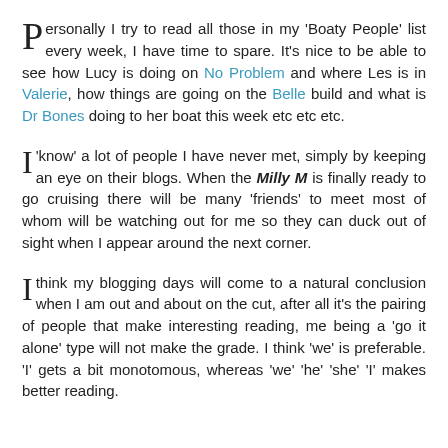Personally I try to read all those in my 'Boaty People' list every week, I have time to spare. It's nice to be able to see how Lucy is doing on No Problem and where Les is in Valerie, how things are going on the Belle build and what is Dr Bones doing to her boat this week etc etc etc.
I 'know' a lot of people I have never met, simply by keeping an eye on their blogs. When the Milly M is finally ready to go cruising there will be many 'friends' to meet most of whom will be watching out for me so they can duck out of sight when I appear around the next corner.
I think my blogging days will come to a natural conclusion when I am out and about on the cut, after all it's the pairing of people that make interesting reading, me being a 'go it alone' type will not make the grade. I think 'we' is preferable. 'I' gets a bit monotomous, whereas 'we' 'he' 'she' 'I' makes better reading.